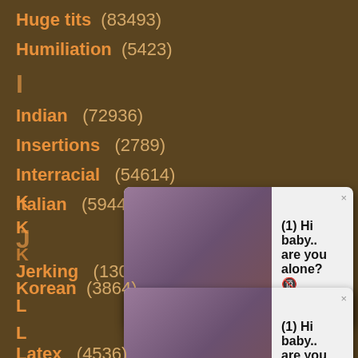Huge tits (83493)
Humiliation (5423)
I
Indian (72936)
Insertions (2789)
Interracial (54614)
Italian (5944)
J
Jerking (130169)
[Figure (screenshot): Popup notification: (1) Hi baby.. are you alone? Alice (Online) Click to see her profile, with a woman photo]
Korean (3864)
[Figure (screenshot): Popup notification: (1) Hi baby.. are you alone? Alice (Online) Click to see her profile, with a woman photo]
Latex (4536)